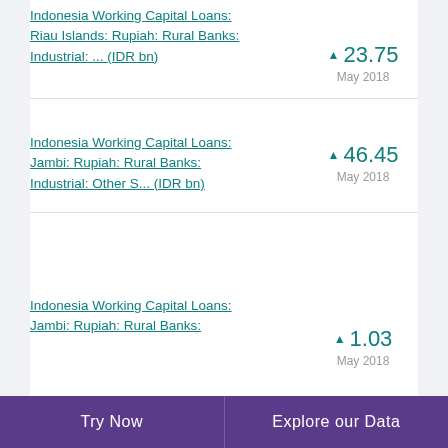Indonesia Working Capital Loans: Riau Islands: Rupiah: Rural Banks: Industrial: ... (IDR bn)
▲ 23.75
May 2018
Indonesia Working Capital Loans: Jambi: Rupiah: Rural Banks: Industrial: Other S... (IDR bn)
▲ 46.45
May 2018
Indonesia Working Capital Loans: Jambi: Rupiah: Rural Banks:
▲ 1.03
May 2018
Try Now   Explore our Data